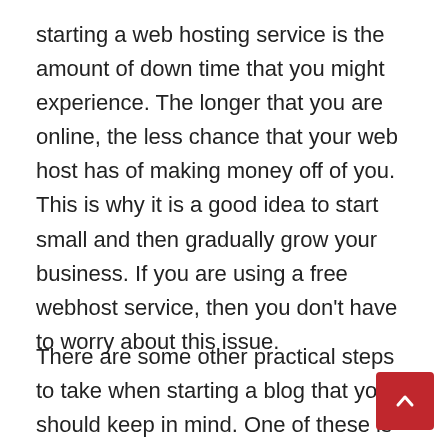starting a web hosting service is the amount of down time that you might experience. The longer that you are online, the less chance that your web host has of making money off of you. This is why it is a good idea to start small and then gradually grow your business. If you are using a free webhost service, then you don't have to worry about this issue.
There are some other practical steps to take when starting a blog that you should keep in mind. One of these is that you should always post to your blog at least once a day. In addition to being practical, it also increases the chance that visitors will come to your blog. When starting a blog, there is no need to invest an exorbitant amount of money on